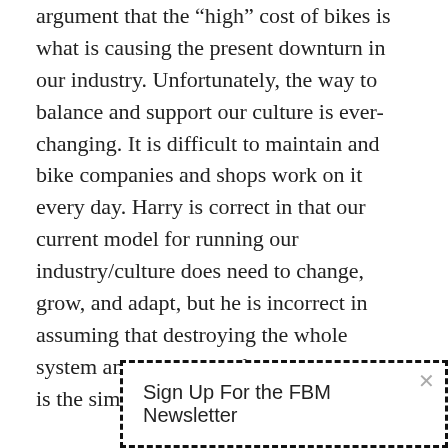argument that the “high” cost of bikes is what is causing the present downturn in our industry. Unfortunately, the way to balance and support our culture is ever-changing. It is difficult to maintain and bike companies and shops work on it every day. Harry is correct in that our current model for running our industry/culture does need to change, grow, and adapt, but he is incorrect in assuming that destroying the whole system and putting his faith in outsiders is the simple solution.

The way these issues connect to the current sales/bike shop/distributor/producer model is complica… changing…
Sign Up For the FBM Newsletter